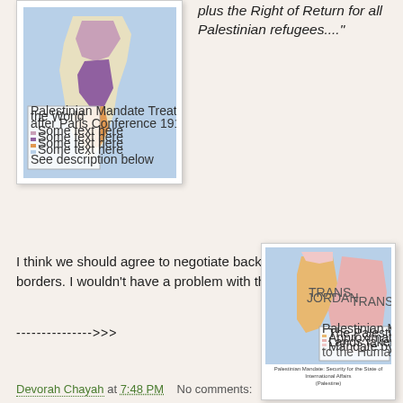[Figure (map): Map of Palestine showing historical boundaries, with colored regions (pink/purple/orange/blue). Small legend below map. Top-left position.]
plus the Right of Return for all Palestinian refugees...."
I think we should agree to negotiate back to the 1923 borders. I wouldn't have a problem with that.
--------------->>>
[Figure (map): Map of Palestine under British Mandate circa 1923, showing regional boundaries with colored areas (pink, orange, light pink). Legend and caption at bottom reading 'Palestinian Mandate: Security for the State of International Affairs (Palestine)'.]
Devorah Chayah at 7:48 PM   No comments: